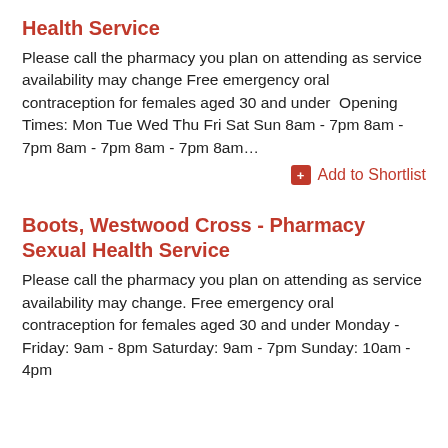Health Service
Please call the pharmacy you plan on attending as service availability may change Free emergency oral contraception for females aged 30 and under  Opening Times: Mon Tue Wed Thu Fri Sat Sun 8am - 7pm 8am - 7pm 8am - 7pm 8am - 7pm 8am…
Add to Shortlist
Boots, Westwood Cross - Pharmacy Sexual Health Service
Please call the pharmacy you plan on attending as service availability may change. Free emergency oral contraception for females aged 30 and under Monday - Friday: 9am - 8pm Saturday: 9am - 7pm Sunday: 10am - 4pm